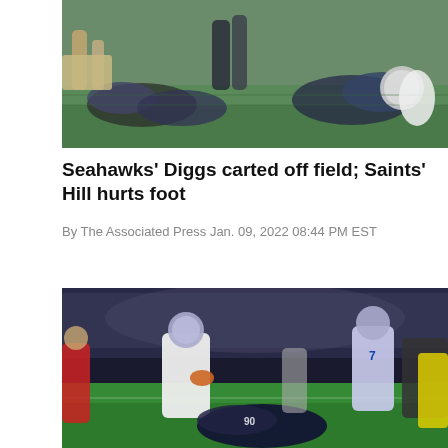[Figure (photo): NFL football game action photo showing players on the field, aerial/close-up view of a play with players on the ground on green grass]
Seahawks' Diggs carted off field; Saints' Hill hurts foot
By The Associated Press Jan. 09, 2022 08:44 PM EST
[Figure (photo): NFL football game indoor stadium photo showing a Tennessee Titans quarterback in white uniform dropping back to pass while a Houston Texans defensive player falls to the ground, crowd in background]